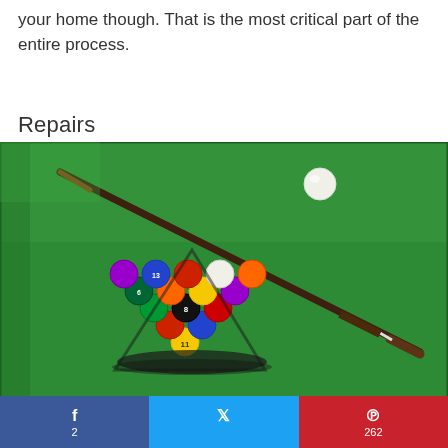your home though. That is the most critical part of the entire process.
Repairs
[Figure (photo): A pool/billiards table with green felt showing a wooden cue stick diagonally across the table, a racked set of colorful billiard balls in a triangle at the bottom center, and a white cue ball in the upper right area.]
f 2  |  Twitter bird icon  |  ℗ 262